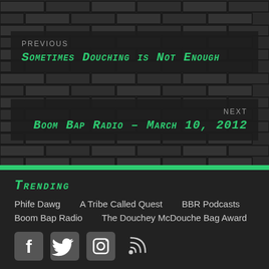PREVIOUS
Sometimes Douching is Not Enough
NEXT
Boom Bap Radio – March 10, 2012
TRENDING
Phife Dawg
A Tribe Called Quest
BBR Podcasts
Boom Bap Radio
The Douchey McDouche Bag Award
[Figure (infographic): Social media icons: Facebook, Twitter, Instagram, RSS feed]